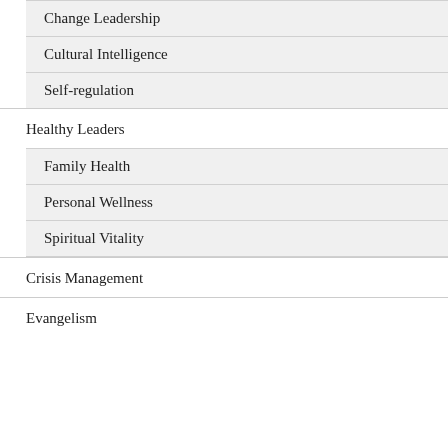Change Leadership
Cultural Intelligence
Self-regulation
Healthy Leaders
Family Health
Personal Wellness
Spiritual Vitality
Crisis Management
Evangelism